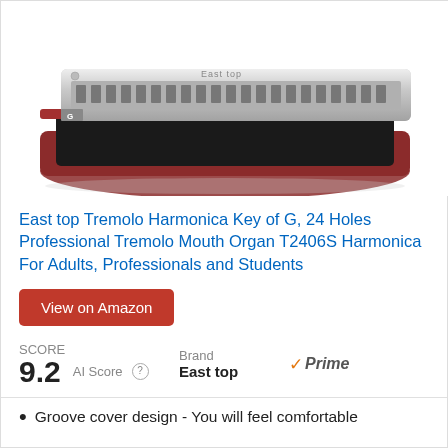[Figure (photo): East top Tremolo Harmonica T2406S shown with chrome body and a dark red carrying case]
East top Tremolo Harmonica Key of G, 24 Holes Professional Tremolo Mouth Organ T2406S Harmonica For Adults, Professionals and Students
View on Amazon
SCORE
9.2  AI Score ⓘ
Brand
East top
✓Prime
Groove cover design - You will feel comfortable